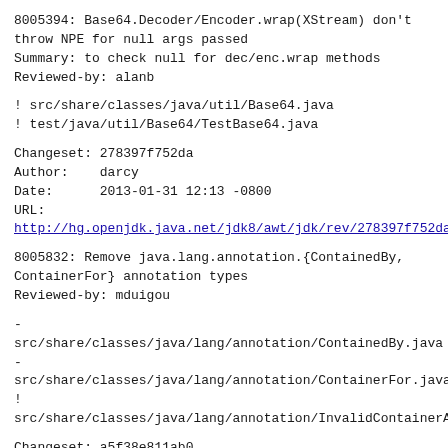8005394: Base64.Decoder/Encoder.wrap(XStream) don't
throw NPE for null args passed
Summary: to check null for dec/enc.wrap methods
Reviewed-by: alanb
! src/share/classes/java/util/Base64.java
! test/java/util/Base64/TestBase64.java
Changeset: 278397f752da
Author:    darcy
Date:      2013-01-31 12:13 -0800
URL:
http://hg.openjdk.java.net/jdk8/awt/jdk/rev/278397f752da
8005832: Remove java.lang.annotation.{ContainedBy,
ContainerFor} annotation types
Reviewed-by: mduigou
-
src/share/classes/java/lang/annotation/ContainedBy.java
-
src/share/classes/java/lang/annotation/ContainerFor.java
!
src/share/classes/java/lang/annotation/InvalidContainerAn
Changeset: a5f38e811ab0
Author:    darcy
Date:      2013-01-31 12:23 -0800
URL: